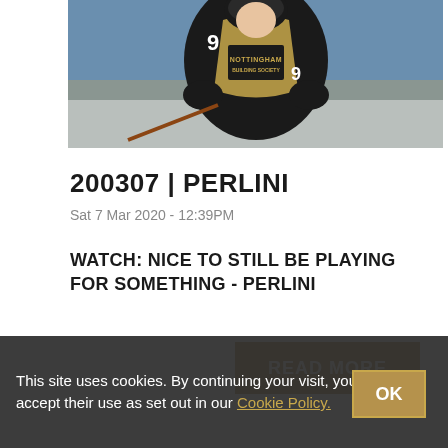[Figure (photo): Ice hockey player wearing Nottingham Panthers jersey number 9, black and gold uniform, in action pose on ice]
200307 | PERLINI
Sat 7 Mar 2020 - 12:39PM
WATCH: NICE TO STILL BE PLAYING FOR SOMETHING - PERLINI
READ MORE
This site uses cookies. By continuing your visit, you accept their use as set out in our Cookie Policy.
OK